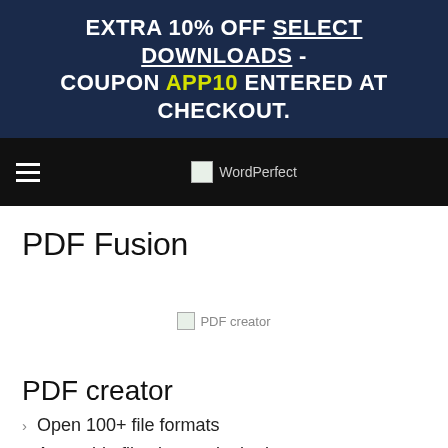EXTRA 10% OFF SELECT DOWNLOADS - COUPON APP10 ENTERED AT CHECKOUT.
[Figure (screenshot): Navigation bar with hamburger menu and WordPerfect logo]
PDF Fusion
[Figure (photo): PDF creator image placeholder]
PDF creator
Open 100+ file formats
Assemble files into a single document
Create PDFs from any application